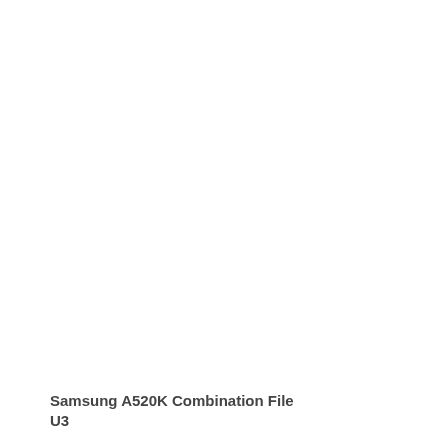Samsung A520K Combination File U3